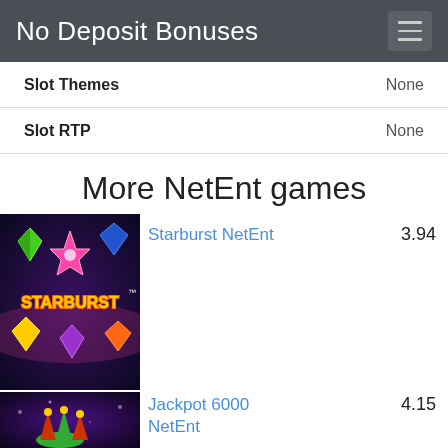No Deposit Bonuses
Slot Themes   None
Slot RTP   None
More NetEnt games
[Figure (photo): Starburst NetEnt slot game thumbnail with colorful gem stones and Starburst logo on dark space background]
Starburst NetEnt   3.94
[Figure (photo): Jackpot 6000 NetEnt slot game thumbnail showing jester character on purple/dark background]
Jackpot 6000 NetEnt   4.15